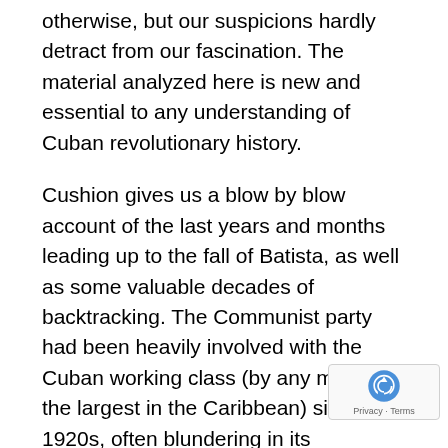otherwise, but our suspicions hardly detract from our fascination. The material analyzed here is new and essential to any understanding of Cuban revolutionary history.
Cushion gives us a blow by blow account of the last years and months leading up to the fall of Batista, as well as some valuable decades of backtracking. The Communist party had been heavily involved with the Cuban working class (by any measure, the largest in the Caribbean) since the 1920s, often blundering in its leadership by seeking to turn the class struggle into political gain in offering olive branches to the dictatorial state. The followers of Fidel, and Raúl...